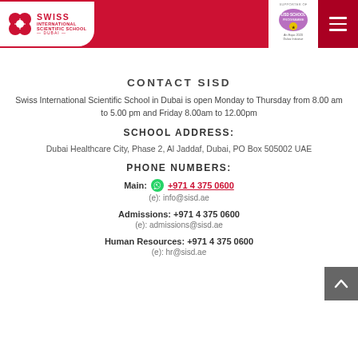[Figure (logo): Swiss International Scientific School Dubai logo with red cross/quatrefoil and text, on white background in red header bar]
[Figure (logo): LISD School Programme badge - supporter of An Expo 2020 Dubai initiative]
CONTACT SISD
Swiss International Scientific School in Dubai is open Monday to Thursday from 8.00 am to 5.00 pm and Friday 8.00am to 12.00pm
SCHOOL ADDRESS:
Dubai Healthcare City, Phase 2, Al Jaddaf, Dubai, PO Box 505002 UAE
PHONE NUMBERS:
Main: +971 4 375 0600
(e): info@sisd.ae
Admissions: +971 4 375 0600
(e): admissions@sisd.ae
Human Resources: +971 4 375 0600
(e): hr@sisd.ae